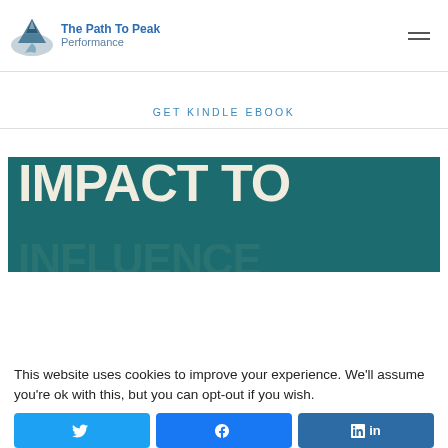[Figure (logo): The Path To Peak Performance logo with mountain/path icon in blue and gray]
GET KINDLE EBOOK
[Figure (illustration): Book cover banner with teal background showing large bold text 'IMPACT TO INFLUENCE']
This website uses cookies to improve your experience. We'll assume you're ok with this, but you can opt-out if you wish.